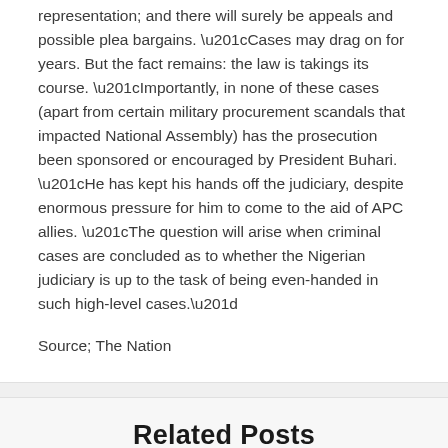representation; and there will surely be appeals and possible plea bargains. “Cases may drag on for years. But the fact remains: the law is takings its course. “Importantly, in none of these cases (apart from certain military procurement scandals that impacted National Assembly) has the prosecution been sponsored or encouraged by President Buhari. “He has kept his hands off the judiciary, despite enormous pressure for him to come to the aid of APC allies. “The question will arise when criminal cases are concluded as to whether the Nigerian judiciary is up to the task of being even-handed in such high-level cases.”
Source; The Nation
Related Posts